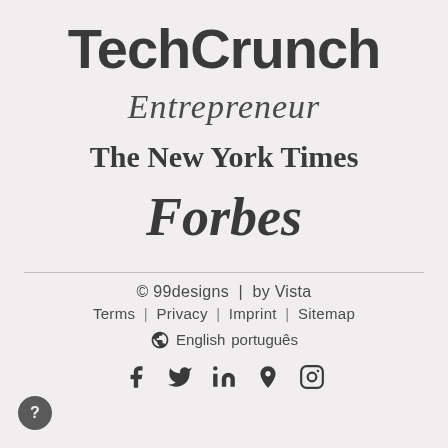[Figure (logo): TechCrunch logo in bold sans-serif]
[Figure (logo): Entrepreneur logo in italic serif]
[Figure (logo): The New York Times logo in blackletter serif]
[Figure (logo): Forbes logo in bold italic serif]
© 99designs  |  by Vista
Terms  |  Privacy  |  Imprint  |  Sitemap
English  português
f  in  P  (instagram icon)